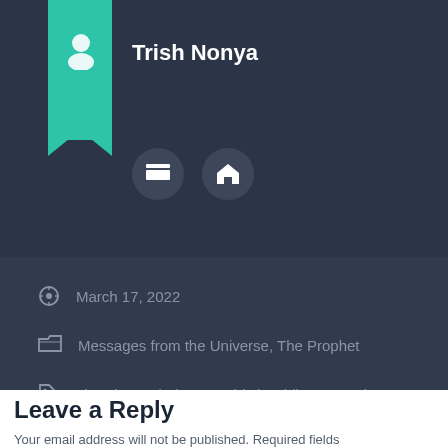Trish Nonya
March 17, 2022
Messages from the Universe, The Prophet
abundance, balance, Whistle while you work
Previous post
Next post
Leave a Reply
Your email address will not be published. Required fields